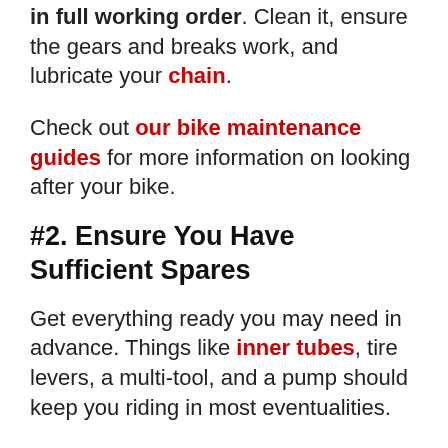in full working order. Clean it, ensure the gears and breaks work, and lubricate your chain.
Check out our bike maintenance guides for more information on looking after your bike.
#2. Ensure You Have Sufficient Spares
Get everything ready you may need in advance. Things like inner tubes, tire levers, a multi-tool, and a pump should keep you riding in most eventualities.